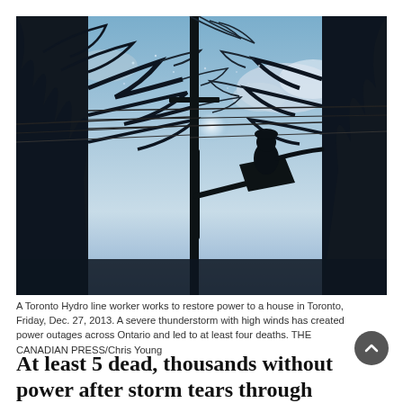[Figure (photo): Silhouette of a Toronto Hydro line worker in a bucket lift working on power lines, surrounded by bare ice-covered tree branches against a bright blue sky with clouds.]
A Toronto Hydro line worker works to restore power to a house in Toronto, Friday, Dec. 27, 2013. A severe thunderstorm with high winds has created power outages across Ontario and led to at least four deaths. THE CANADIAN PRESS/Chris Young
At least 5 dead, thousands without power after storm tears through Ontario, Quebec